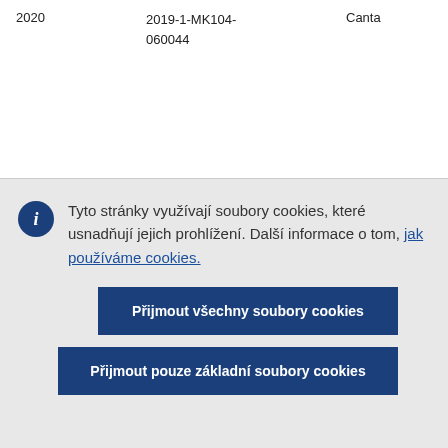| 2020 | 2019-1-MK104-060044 | Canta |
Tyto stránky využívají soubory cookies, které usnadňují jejich prohlížení. Další informace o tom, jak používáme cookies.
Přijmout všechny soubory cookies
Přijmout pouze základní soubory cookies